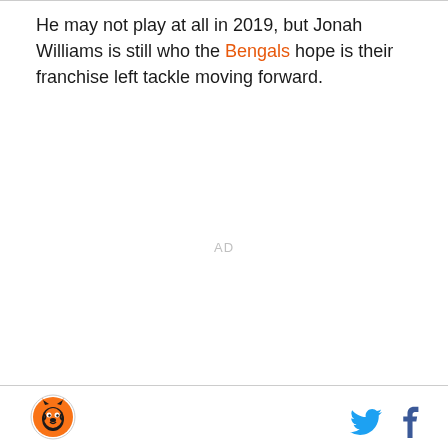He may not play at all in 2019, but Jonah Williams is still who the Bengals hope is their franchise left tackle moving forward.
AD
[Figure (logo): Cincinnati Bengals circular logo with tiger mascot]